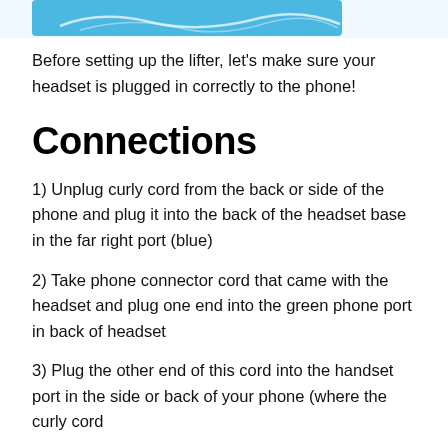[Figure (illustration): Top portion of an illustration showing a phone lifter device with a blue background, partially cropped at the top of the page]
Before setting up the lifter, let's make sure your headset is plugged in correctly to the phone!
Connections
1)  Unplug curly cord from the back or side of the phone and plug it into the back of the headset base in the far right port (blue)
2)  Take phone connector cord that came with the headset and plug one end into the green phone port in back of headset
3)  Plug the other end of this cord into the handset port in the side or back of your phone (where the curly cord was plugged in originally)